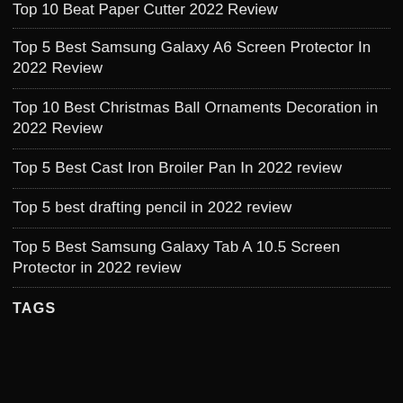Top 10 Beat Paper Cutter 2022 Review
Top 5 Best Samsung Galaxy A6 Screen Protector In 2022 Review
Top 10 Best Christmas Ball Ornaments Decoration in 2022 Review
Top 5 Best Cast Iron Broiler Pan In 2022 review
Top 5 best drafting pencil in 2022 review
Top 5 Best Samsung Galaxy Tab A 10.5 Screen Protector in 2022 review
TAGS